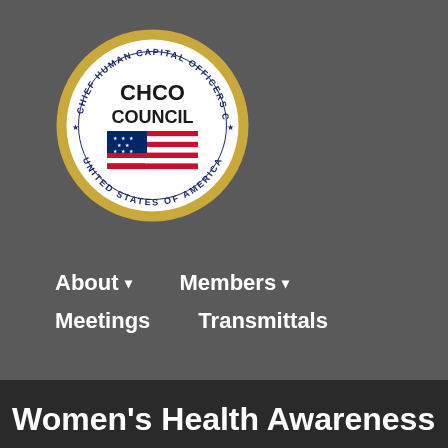[Figure (logo): CHCO Council seal — Chief Human Capital Officers Council, United States of America, with American flag graphic in the center]
About ▾
Members ▾
Meetings
Transmittals
Women's Health Awareness